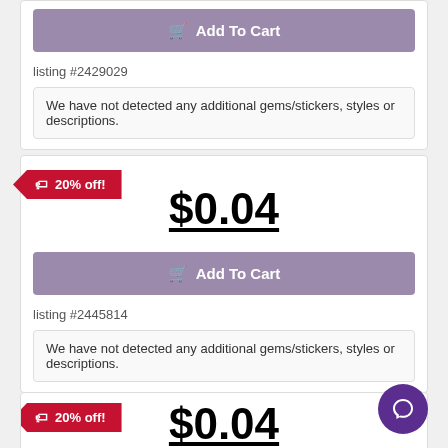Add To Cart
listing #2429029
We have not detected any additional gems/stickers, styles or descriptions.
20% off!
$0.04
Add To Cart
listing #2445814
We have not detected any additional gems/stickers, styles or descriptions.
20% off!
$0.04